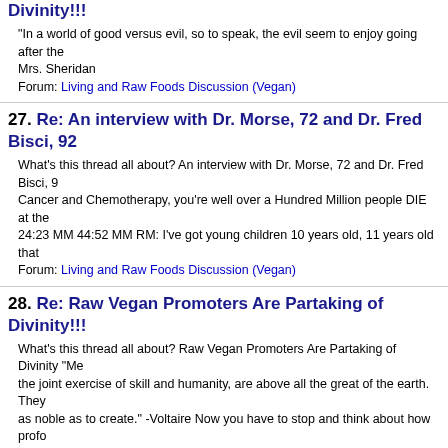Divinity!!!
"In a world of good versus evil, so to speak, the evil seem to enjoy going after the Mrs. Sheridan
Forum: Living and Raw Foods Discussion (Vegan)
27. Re: An interview with Dr. Morse, 72 and Dr. Fred Bisci, 92
What's this thread all about? An interview with Dr. Morse, 72 and Dr. Fred Bisci, 9 Cancer and Chemotherapy, you're well over a Hundred Million people DIE at the 24:23 MM 44:52 MM RM: I've got young children 10 years old, 11 years old that
Forum: Living and Raw Foods Discussion (Vegan)
28. Re: Raw Vegan Promoters Are Partaking of Divinity!!!
What's this thread all about? Raw Vegan Promoters Are Partaking of Divinity "Me the joint exercise of skill and humanity, are above all the great of the earth. They as noble as to create." -Voltaire Now you have to stop and think about how profo
Forum: Living and Raw Foods Discussion (Vegan)
29. Re: An interview with Dr. Morse, 72 and Dr. Fred Bisci, 92
MystK • 21 minutes ago on 11-19-21 John Rose I read the Living and Raw Food others like fresh and jennifer) keep feeding the trolls? These guys with Narcissis They only way to make them shut up is to treat them like air - meaning dont ackn
Forum: Living and Raw Foods Discussion (Vegan)
30. Re: An interview with Dr. Morse, 72 and Dr. Fred